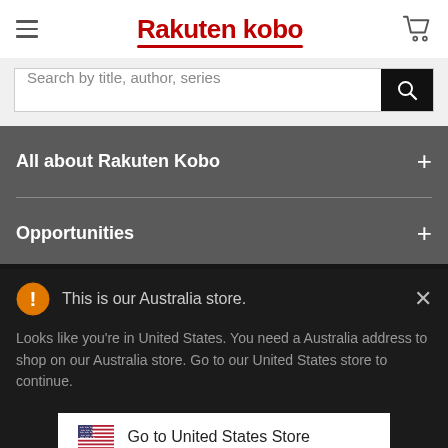Rakuten kobo
Search by title, author, series
All about Rakuten Kobo
Opportunities
This is our Australia store.
Looks like you're in United States. You need a Australia address to shop on our Australia store. Go to our United States store to continue.
Go to United States Store
Choose another store